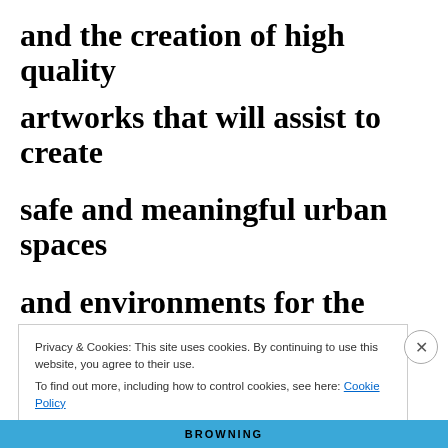and the creation of high quality
artworks that will assist to create
safe and meaningful urban spaces
and environments for the
Privacy & Cookies: This site uses cookies. By continuing to use this website, you agree to their use. To find out more, including how to control cookies, see here: Cookie Policy
Close and accept